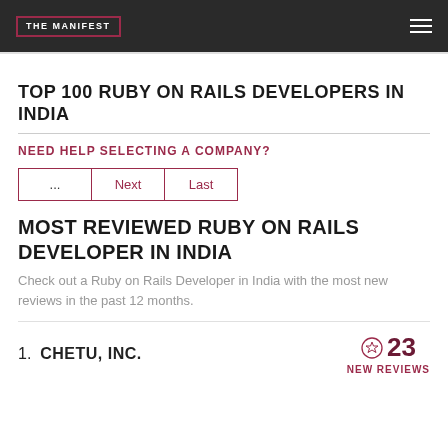THE MANIFEST
TOP 100 RUBY ON RAILS DEVELOPERS IN INDIA
NEED HELP SELECTING A COMPANY?
... Next Last
MOST REVIEWED RUBY ON RAILS DEVELOPER IN INDIA
Check out a Ruby on Rails Developer in India with the most new reviews in the past 12 months.
1. CHETU, INC.  23 NEW REVIEWS